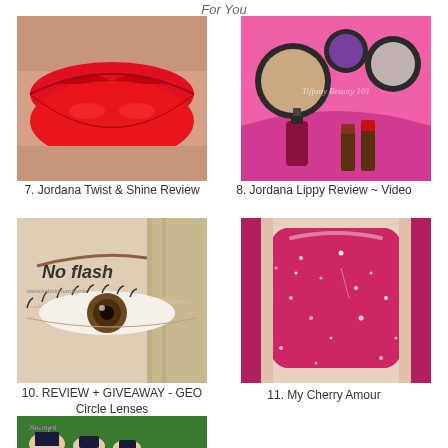For You
[Figure (photo): Close-up of lips with bright red lipstick]
7. Jordana Twist & Shine Review
[Figure (photo): Pink background with makeup products: eyeshadow compacts, nail polish, and lipsticks. Text 'Tiffany Beauty 101']
8. Jordana Lippy Review ~ Video
9.
[Figure (photo): Close-up of an eye with brown contact lens. Text 'No flash' and watermark www.bebulumardbynia]
10. REVIEW + GIVEAWAY - GEO Circle Lenses
[Figure (photo): Close-up of a fingernail painted in glittery pink/magenta polish]
11. My Cherry Amour
[Figure (photo): Toes with dark striped nail polish on a green background. Text 'Straight']